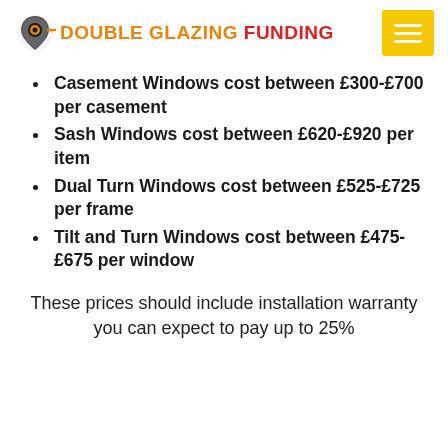[Figure (logo): Double Glazing Funding logo with circular icon and orange/red text, plus yellow hamburger menu button]
Casement Windows cost between £300-£700 per casement
Sash Windows cost between £620-£920 per item
Dual Turn Windows cost between £525-£725 per frame
Tilt and Turn Windows cost between £475-£675 per window
These prices should include installation warranty you can expect to pay up to 25%